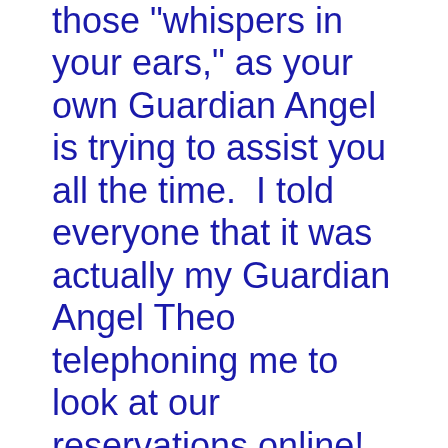those “whispers in your ears,” as your own Guardian Angel is trying to assist you all the time.  I told everyone that it was actually my Guardian Angel Theo telephoning me to look at our reservations online!

I’m sure I’ll have